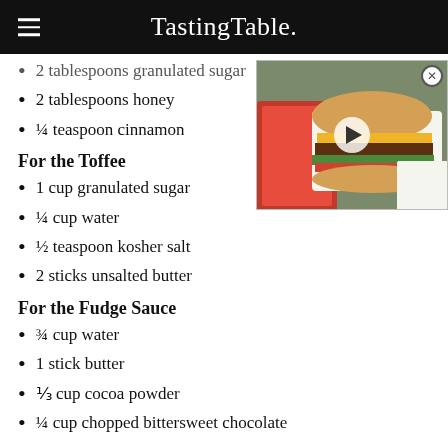Tasting Table.
2 tablespoons granulated sugar (cut off)
2 tablespoons honey
¼ teaspoon cinnamon
For the Toffee
1 cup granulated sugar
¼ cup water
½ teaspoon kosher salt
2 sticks unsalted butter
For the Fudge Sauce
¾ cup water
1 stick butter
⅓ cup cocoa powder
¼ cup chopped bittersweet chocolate
[Figure (photo): In-N-Out Burger advertisement video thumbnail showing a double cheeseburger with a play button overlay]